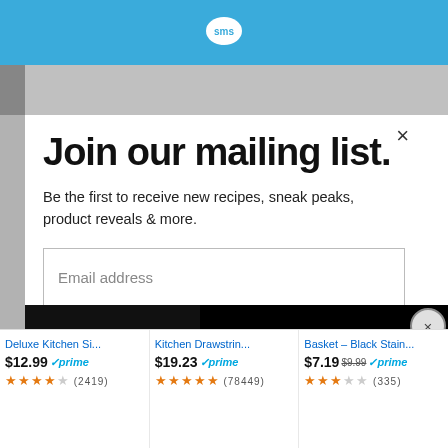[Figure (screenshot): Blue header bar with SMS logo/chat bubble icon centered]
[Figure (screenshot): Gray banner strip below blue header]
Join our mailing list.
Be the first to receive new recipes, sneak peaks, product reveals & more.
Email address
Subscribe
[Figure (screenshot): Black video player panel with loading spinner (circle arc) and CLOSE button]
Deluxe Kitchen Si...
Kitchen Drawstrin...
Basket – Black Stain...
$12.99 ✓prime ★★★★☆ (2419)
$19.23 ✓prime ★★★★★ (78449)
$7.19 $9.99 ✓prime ★★★☆☆ (335)